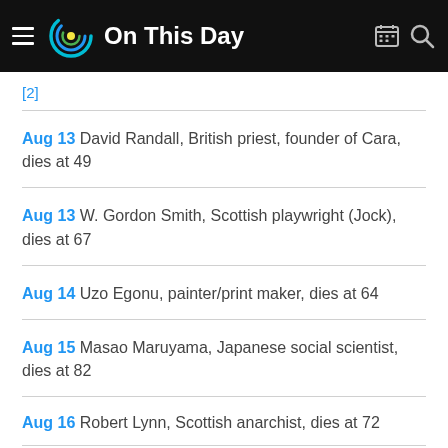On This Day
[2]
Aug 13 David Randall, British priest, founder of Cara, dies at 49
Aug 13 W. Gordon Smith, Scottish playwright (Jock), dies at 67
Aug 14 Uzo Egonu, painter/print maker, dies at 64
Aug 15 Masao Maruyama, Japanese social scientist, dies at 82
Aug 16 Robert Lynn, Scottish anarchist, dies at 72